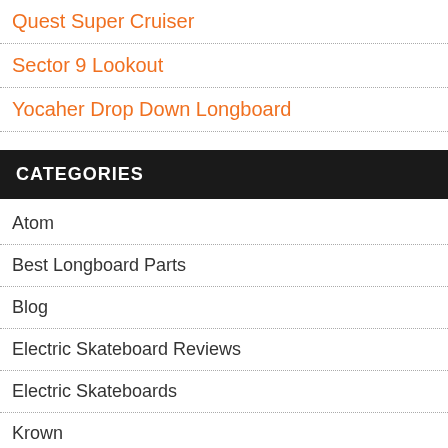Quest Super Cruiser
Sector 9 Lookout
Yocaher Drop Down Longboard
CATEGORIES
Atom
Best Longboard Parts
Blog
Electric Skateboard Reviews
Electric Skateboards
Krown